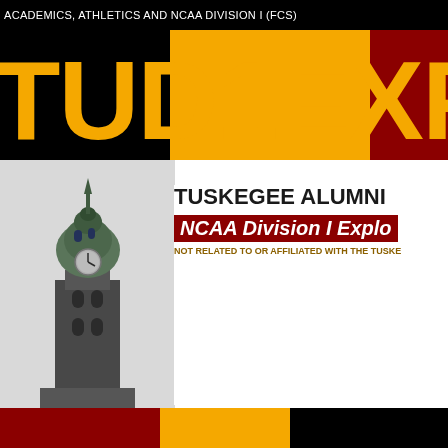ACADEMICS, ATHLETICS AND NCAA DIVISION I (FCS)
TUD1EXPLOR
[Figure (logo): Tuskegee Alumni NCAA Division I Explorer logo featuring a clock tower building image on the left and text on the right reading: TUSKEGEE ALUMNI, NCAA Division I Explo[rer], NOT RELATED TO OR AFFILIATED WITH THE TUSKE[GEE UNIVERSITY]]
TUSKEGEE ALUMNI
NCAA Division I Explo
NOT RELATED TO OR AFFILIATED WITH THE TUSKE